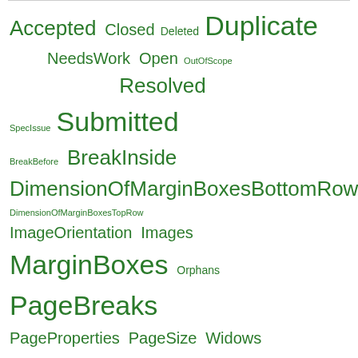[Figure (infographic): Tag cloud showing various status and group labels in green, with varying font sizes indicating frequency/weight. Labels include: Accepted, Closed, Deleted, Duplicate, NeedsWork, Open, OutOfScoped, Resolved, SpecIssue, Submitted, BreakBefore, BreakInside, DimensionOfMarginBoxesBottomRow, DimensionOfMarginBoxesTopRow, ImageOrientation, Images, MarginBoxes, Orphans, PageBreaks, PageProperties, PageSize, Widows]
Filtered by status=Open & group=DimensionOfMarginBoxesTopRow
Show all (remove filter/sort)
| Submission | ↑ Status | Authors | Groups | URL |
| --- | --- | --- | --- | --- |
| Nothing found |  |  |  |  |
test/css2.1/submit.txt · Last modified: 2014/12/09 15:48 (external edit)
Show pagesource   Old revisions   Log In
RSS XML FEED  W3C XHTML 1.0  W3C CSS  DOKUWIKI